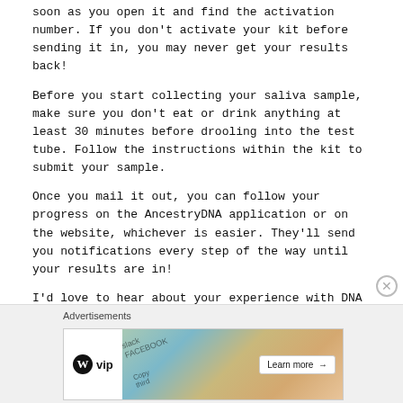soon as you open it and find the activation number. If you don't activate your kit before sending it in, you may never get your results back!
Before you start collecting your saliva sample, make sure you don't eat or drink anything at least 30 minutes before drooling into the test tube. Follow the instructions within the kit to submit your sample.
Once you mail it out, you can follow your progress on the AncestryDNA application or on the website, whichever is easier. They'll send you notifications every step of the way until your results are in!
I'd love to hear about your experience with DNA testing! What were your results? How did the whole experience make you feel?
Please let me know if you have any questions!
October 1, 2021  /  EMOTIONAL, FAMILY, MENTAL, PERSONAL, PHYSICAL, RELATIONSHIPS, WELL-BEING  /  Leave a comment
[Figure (other): Advertisements banner with WordPress VIP logo and colorful social media card imagery with a Learn more button]